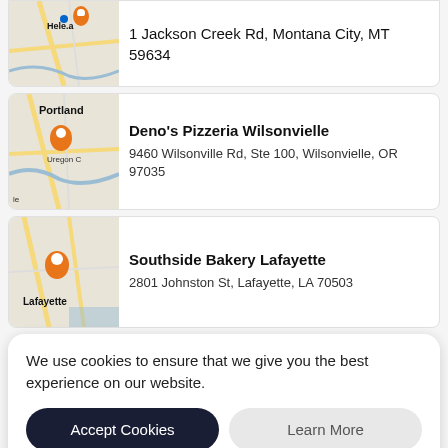[Figure (screenshot): Partial map thumbnail showing Helena, MT area with orange location pin]
1 Jackson Creek Rd, Montana City, MT 59634
[Figure (screenshot): Map thumbnail showing Portland / Oregon City area with orange location pin]
Deno's Pizzeria Wilsonvielle
9460 Wilsonville Rd, Ste 100, Wilsonvielle, OR 97035
[Figure (screenshot): Map thumbnail showing Lafayette, LA area with orange location pin]
Southside Bakery Lafayette
2801 Johnston St, Lafayette, LA 70503
We use cookies to ensure that we give you the best experience on our website.
Accept Cookies
Learn More
[Figure (screenshot): Partial map thumbnail showing Oregon City area at bottom]